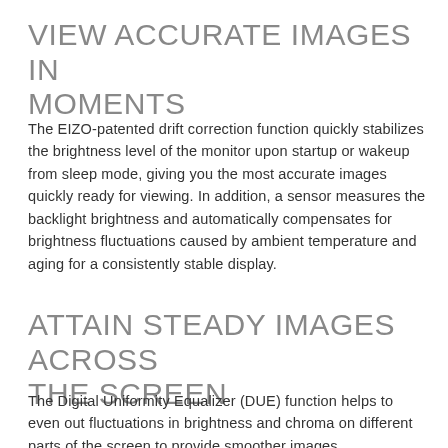VIEW ACCURATE IMAGES IN MOMENTS
The EIZO-patented drift correction function quickly stabilizes the brightness level of the monitor upon startup or wakeup from sleep mode, giving you the most accurate images quickly ready for viewing. In addition, a sensor measures the backlight brightness and automatically compensates for brightness fluctuations caused by ambient temperature and aging for a consistently stable display.
ATTAIN STEADY IMAGES ACROSS THE SCREEN
The Digital Uniformity Equalizer (DUE) function helps to even out fluctuations in brightness and chroma on different parts of the screen to provide smoother images.